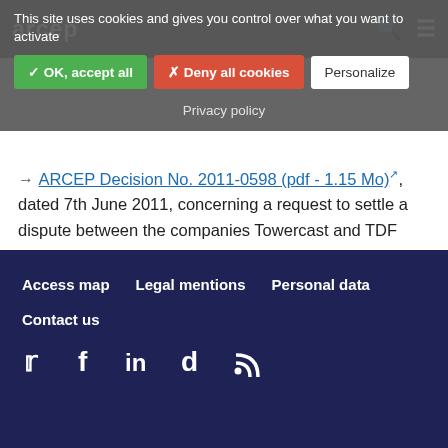arcep
This site uses cookies and gives you control over what you want to activate
✓ OK, accept all | ✗ Deny all cookies | Personalize | Privacy policy
→ ARCEP Decision No. 2011-0598 (pdf - 1.15 Mo) ↗, dated 7th June 2011, concerning a request to settle a dispute between the companies Towercast and TDF (pdf - - in French) »
Access map   Legal mentions   Personal data   Contact us
[Figure (other): Social media icons: Twitter, Facebook, LinkedIn, Dailymotion, RSS feed]